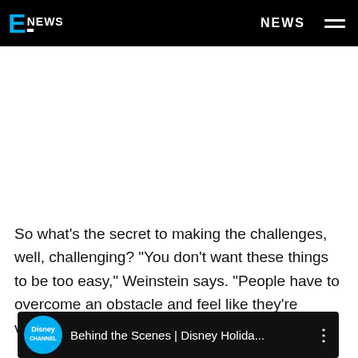E! NEWS | NEWS
So what's the secret to making the challenges, well, challenging? "You don't want these things to be too easy," Weinstein says. "People have to overcome an obstacle and feel like they're victorious."
[Figure (screenshot): Disney Channel video thumbnail: 'Behind the Scenes | Disney Holida...' with Disney Channel logo and three-dot menu icon]